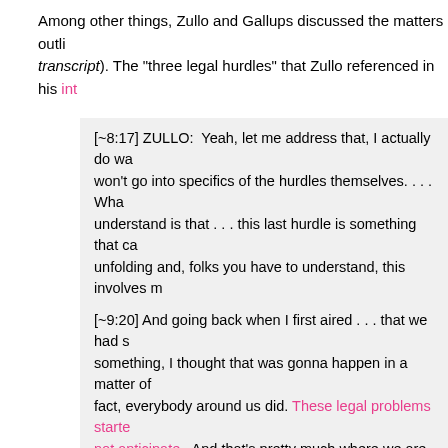Among other things, Zullo and Gallups discussed the matters outlined in the transcript). The "three legal hurdles" that Zullo referenced in his int
[~8:17] ZULLO:  Yeah, let me address that, I actually do wa won't go into specifics of the hurdles themselves. . . . Wha understand is that . . . this last hurdle is something that ca unfolding and, folks you have to understand, this involves m Sheriff – it involves other people, other legal entanglement out, and it's gonna also involve and basically rest on the c protection of other people, and I'm not talking just physical legally; it involves attorneys – it's one of those things that be tightened down, because if one thing isn't torqued corre falls apart.
[~9:20] And going back when I first aired . . . that we had s something, I thought that was gonna happen in a matter of fact, everybody around us did. These legal problems starte not anticipate.  And that's pretty much where we are. So w statement in the news article that it may never see the ligh you:  That information may never see the light of day; that have an idea of what it is; that doesn't mean I will take it to because it doesn't see the light of day from my perspective